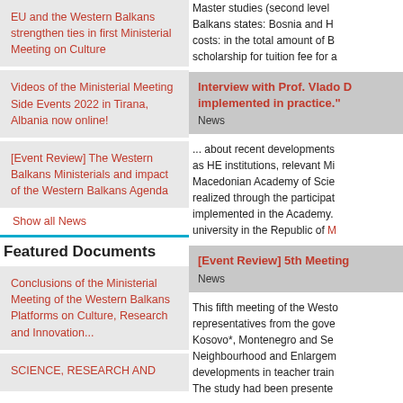EU and the Western Balkans strengthen ties in first Ministerial Meeting on Culture
Videos of the Ministerial Meeting Side Events 2022 in Tirana, Albania now online!
[Event Review] The Western Balkans Ministerials and impact of the Western Balkans Agenda
Show all News
Featured Documents
Conclusions of the Ministerial Meeting of the Western Balkans Platforms on Culture, Research and Innovation...
SCIENCE, RESEARCH AND
Master studies (second level) Balkans states: Bosnia and H costs: in the total amount of B scholarship for tuition fee for a
[Figure (other): Interview with Prof. Vlado highlight card with title and News label]
... about recent developments as HE institutions, relevant Mi Macedonian Academy of Scie realized through the participat implemented in the Academy. university in the Republic of M
[Figure (other): [Event Review] 5th Meeting highlight card with News label]
This fifth meeting of the Westo representatives from the gove Kosovo*, Montenegro and Se Neighbourhood and Enlargem developments in teacher train The study had been presente